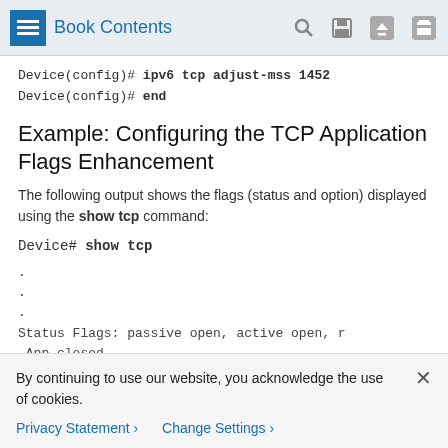Book Contents
Device(config)# ipv6 tcp adjust-mss 1452
Device(config)# end
Example: Configuring the TCP Application Flags Enhancement
The following output shows the flags (status and option) displayed using the show tcp command:
Device# show tcp
.
.
.
Status Flags: passive open, active open, r
 App closed
Option Flags: vrf id set
By continuing to use our website, you acknowledge the use of cookies.
Privacy Statement ›   Change Settings ›